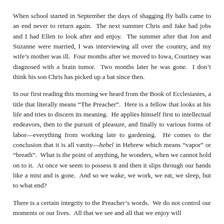When school started in September the days of shagging fly balls came to an end never to return again.  The next summer Chris and Jake had jobs and I had Ellen to look after and enjoy.  The summer after that Jon and Suzanne were married, I was interviewing all over the country, and my wife's mother was ill.  Four months after we moved to Iowa, Courtney was diagnosed with a brain tumor.  Two months later he was gone.  I don't think his son Chris has picked up a bat since then.
In our first reading this morning we heard from the Book of Ecclesiastes, a title that literally means “The Preacher”.  Here is a fellow that looks at his life and tries to discern its meaning.  He applies himself first to intellectual endeavors, then to the pursuit of pleasure, and finally to various forms of labor—everything from working late to gardening.  He comes to the conclusion that it is all vanity—hebel in Hebrew which means “vapor” or “breath”.  What is the point of anything, he wonders, when we cannot hold on to it.  At once we seem to possess it and then it slips through our hands like a mist and is gone.  And so we wake, we work, we eat, we sleep, but to what end?
There is a certain integrity to the Preacher’s words.  We do not control our moments or our lives.  All that we see and all that we enjoy will